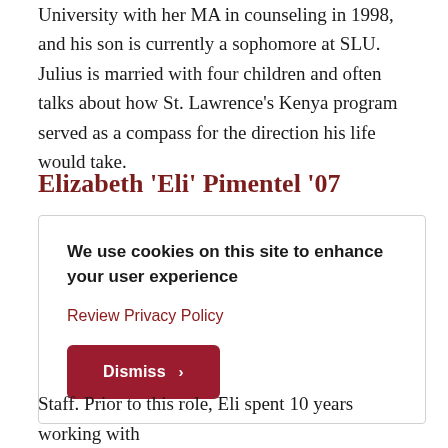University with her MA in counseling in 1998, and his son is currently a sophomore at SLU. Julius is married with four children and often talks about how St. Lawrence's Kenya program served as a compass for the direction his life would take.
Elizabeth 'Eli' Pimentel '07
We use cookies on this site to enhance your user experience
Review Privacy Policy
Dismiss ›
Staff. Prior to this role, Eli spent 10 years working with